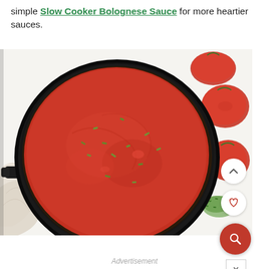simple Slow Cooker Bolognese Sauce for more heartier sauces.
[Figure (photo): Top-down photo of a cast iron skillet filled with red tomato sauce garnished with chopped fresh herbs, surrounded by fresh tomatoes and chopped herbs on a white surface. UI buttons (up arrow, heart, search magnifier, close X) overlay the right side.]
Advertisement